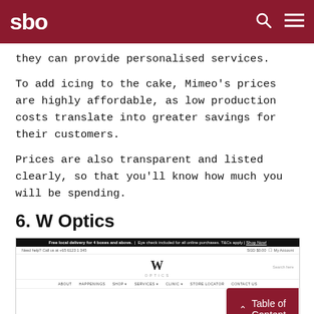sbo
they can provide personalised services.
To add icing to the cake, Mimeo's prices are highly affordable, as low production costs translate into greater savings for their customers.
Prices are also transparent and listed clearly, so that you'll know how much you will be spending.
6. W Optics
[Figure (screenshot): Screenshot of W Optics website showing header navigation with logo, menu items (ABOUT, HAPPENINGS, SHOP, SERVICES, CLINIC, STORE LOCATOR, CONTACT US), and product area featuring MiSight contact lenses with purple circle logo]
Table of Content